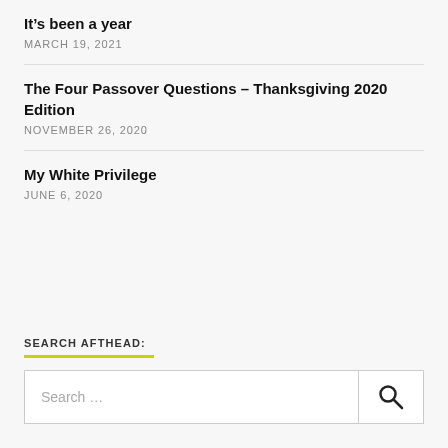It’s been a year
MARCH 19, 2021
The Four Passover Questions – Thanksgiving 2020 Edition
NOVEMBER 26, 2020
My White Privilege
JUNE 6, 2020
SEARCH AFTHEAD:
Search …